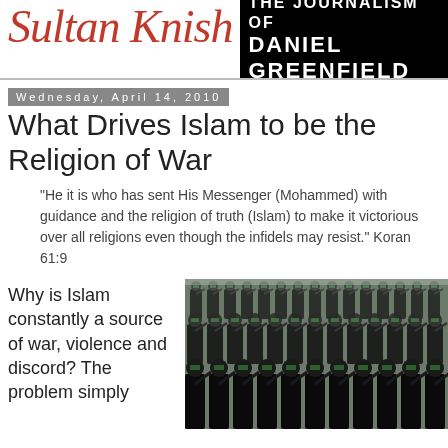Sultan Knish — The Journalism of Daniel Greenfield
Wednesday, April 14, 2010
What Drives Islam to be the Religion of War
"He it is who has sent His Messenger (Mohammed) with guidance and the religion of truth (Islam) to make it victorious over all religions even though the infidels may resist." Koran 61:9
Why is Islam constantly a source of war, violence and discord? The problem simply
[Figure (photo): Large group of people dressed in black uniforms with green headbands, saluting in unison indoors]